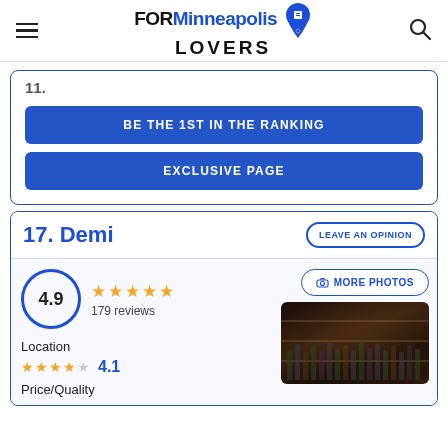FORMinneapolis LOVERS
...
BE THE 1ST IN THE RANKING
EXCLUSIVE PAGE
17. Demi
LEAVE AN OPINION
4.9 ★★★★★ 179 reviews
MORE PHOTOS
Location
★★★★☆ 4.1
Price/Quality